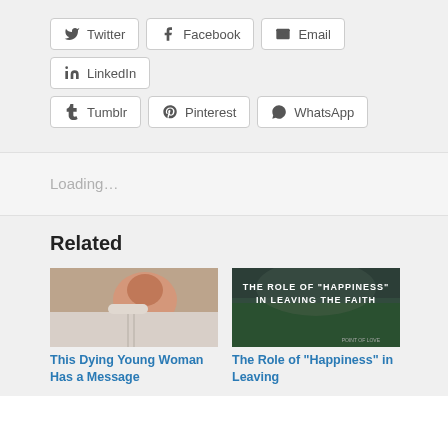Twitter
Facebook
Email
LinkedIn
Tumblr
Pinterest
WhatsApp
Loading…
Related
[Figure (photo): A dying young woman lying in a hospital bed with a nasal cannula]
This Dying Young Woman Has a Message
[Figure (photo): Dark scenic image with text overlay: THE ROLE OF HAPPINESS IN LEAVING THE FAITH]
The Role of "Happiness" in Leaving